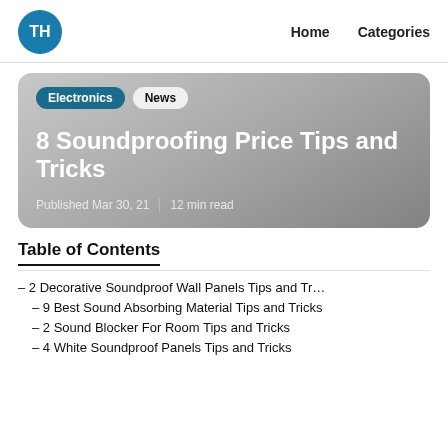TH  Home  Categories
[Figure (infographic): Hero card with Electronics and News badges, title '8 Soundproofing Price Tips and Tricks', published Mar 30, 21, 12 min read]
8 Soundproofing Price Tips and Tricks
Published Mar 30, 21 | 12 min read
Table of Contents
– 2 Decorative Soundproof Wall Panels Tips and Tr…
– 9 Best Sound Absorbing Material Tips and Tricks
– 2 Sound Blocker For Room Tips and Tricks
– 4 White Soundproof Panels Tips and Tricks